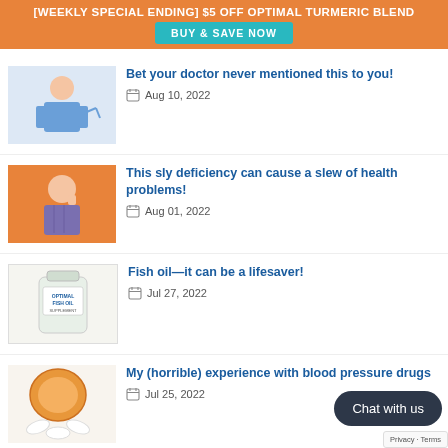[WEEKLY SPECIAL ENDING] $5 OFF OPTIMAL TURMERIC BLEND BUY & SAVE NOW
Bet your doctor never mentioned this to you! | Aug 10, 2022
This sly deficiency can cause a slew of health problems! | Aug 01, 2022
Fish oil—it can be a lifesaver! | Jul 27, 2022
My (horrible) experience with blood pressure drugs | Jul 25, 2022
Six ways you may be raising your heart disease risk | Jul 19, 2022
This had better change…or we' [truncated] | Jul 14, 2022